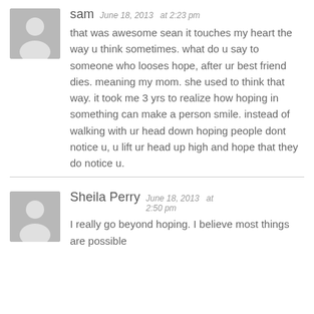sam   June 18, 2013   at 2:23 pm
that was awesome sean it touches my heart the way u think sometimes. what do u say to someone who looses hope, after ur best friend dies. meaning my mom. she used to think that way. it took me 3 yrs to realize how hoping in something can make a person smile. instead of walking with ur head down hoping people dont notice u, u lift ur head up high and hope that they do notice u.
Sheila Perry   June 18, 2013   at 2:50 pm
I really go beyond hoping. I believe most things are possible